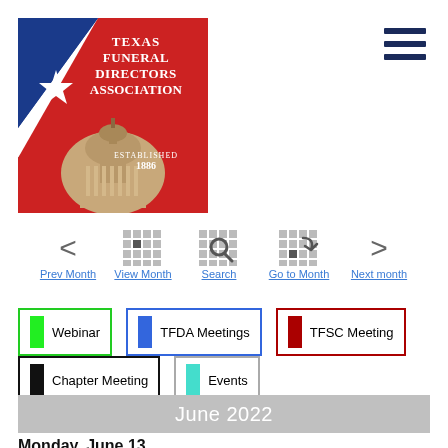[Figure (logo): Texas Funeral Directors Association logo with Texas flag (blue, white, red) and capitol dome, text: Texas Funeral Directors Association, Established 1886]
[Figure (other): Hamburger menu icon (three horizontal navy lines)]
[Figure (infographic): Navigation bar with icons: Prev Month, View Month, Search, Go to Month, Next month]
Webinar
TFDA Meetings
TFSC Meeting
Chapter Meeting
Events
June 2022
Monday, June 13